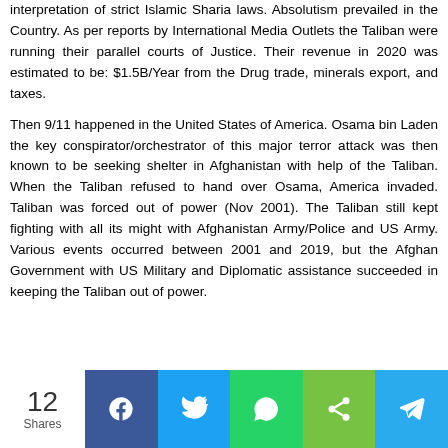interpretation of strict Islamic Sharia laws. Absolutism prevailed in the Country. As per reports by International Media Outlets the Taliban were running their parallel courts of Justice. Their revenue in 2020 was estimated to be: $1.5B/Year from the Drug trade, minerals export, and taxes.
Then 9/11 happened in the United States of America. Osama bin Laden the key conspirator/orchestrator of this major terror attack was then known to be seeking shelter in Afghanistan with help of the Taliban. When the Taliban refused to hand over Osama, America invaded. Taliban was forced out of power (Nov 2001). The Taliban still kept fighting with all its might with Afghanistan Army/Police and US Army. Various events occurred between 2001 and 2019, but the Afghan Government with US Military and Diplomatic assistance succeeded in keeping the Taliban out of power.
[Figure (infographic): Social share bar showing 12 Shares count on the left, followed by share buttons for Facebook (blue), Twitter (light blue), WhatsApp (green), generic share (yellow-green), and Telegram (blue).]